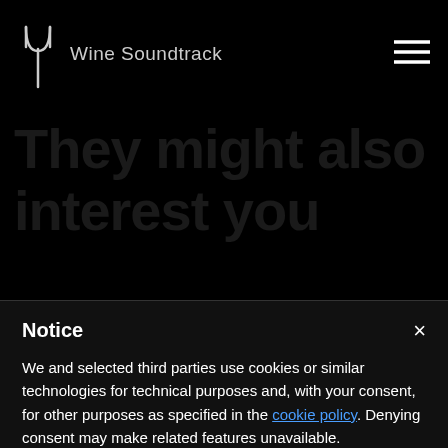Wine Soundtrack
They might also interest you
Notice
We and selected third parties use cookies or similar technologies for technical purposes and, with your consent, for other purposes as specified in the cookie policy. Denying consent may make related features unavailable.
Use the “Accept” button or close this notice to consent to the use of such technologies.
Accept
Learn more and customize